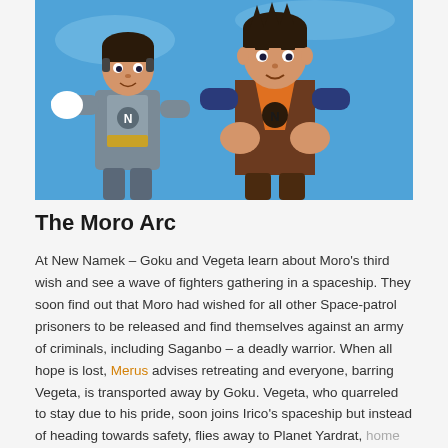[Figure (illustration): Anime illustration of two Dragon Ball Super characters — a shorter character in grey/blue armor with a gold chest panel on the left, and a taller character in orange and brown clothing on the right — both standing against a blue background.]
The Moro Arc
At New Namek – Goku and Vegeta learn about Moro's third wish and see a wave of fighters gathering in a spaceship. They soon find out that Moro had wished for all other Space-patrol prisoners to be released and find themselves against an army of criminals, including Saganbo – a deadly warrior. When all hope is lost, Merus advises retreating and everyone, barring Vegeta, is transported away by Goku. Vegeta, who quarreled to stay due to his pride, soon joins Irico's spaceship but instead of heading towards safety, flies away to Planet Yardrat, home to Yardrats who are known to exist in Universe 2 and 7.